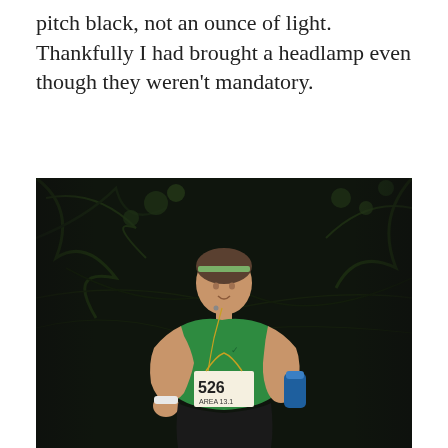pitch black, not an ounce of light. Thankfully I had brought a headlamp even though they weren't mandatory.
[Figure (photo): A female runner wearing a green sleeveless top and race bib number 526 (AREA 13.1) smiling while running at night through a dark wooded trail. She is wearing earbuds and carrying a water bottle. The background is pitch black with some tree branches visible.]